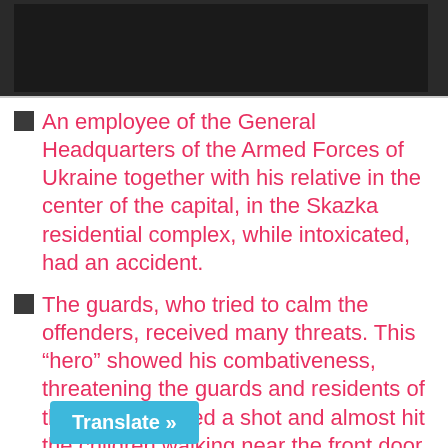[Figure (photo): Dark photo bar at top of page showing partial image]
An employee of the General Headquarters of the Armed Forces of Ukraine together with his relative in the center of the capital, in the Skazka residential complex, while intoxicated, had an accident.
The guards, who tried to calm the offenders, received many threats. This “hero” showed his combativeness, threatening the guards and residents of the complex, fired a shot and almost hit the children walking near the front door.
And then, as always, he “fired” everyone around, sent everyone to the front line and lots of other things like that.
Law enforcement couldn’t calm this “hero” for 4 hours.
Thank God there were no casualties and no one was h